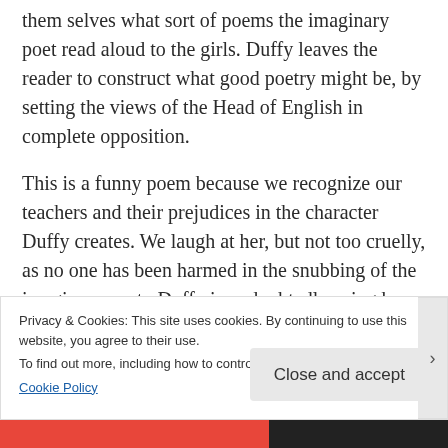Carol Ann Duffy leaves the reader to imagine for them selves what sort of poems the imaginary poet read aloud to the girls. Duffy leaves the reader to construct what good poetry might be, by setting the views of the Head of English in complete opposition.
This is a funny poem because we recognize our teachers and their prejudices in the character Duffy creates. We laugh at her, but not too cruelly, as no one has been harmed in the snubbing of the imaginary poet . Duffy is undoubtedly using her own personal
Privacy & Cookies: This site uses cookies. By continuing to use this website, you agree to their use.
To find out more, including how to control cookies, see here:
Cookie Policy